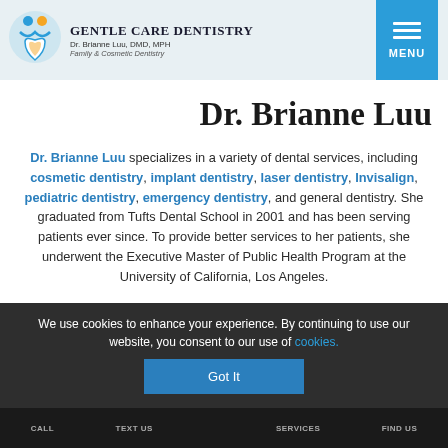[Figure (logo): Gentle Care Dentistry logo with blue tooth/heart icon, brand name, doctor name Dr. Brianne Luu DMD MPH, and specialty Family & Cosmetic Dentistry]
Dr. Brianne Luu
Dr. Brianne Luu specializes in a variety of dental services, including cosmetic dentistry, implant dentistry, laser dentistry, Invisalign, pediatric dentistry, emergency dentistry, and general dentistry. She graduated from Tufts Dental School in 2001 and has been serving patients ever since. To provide better services to her patients, she underwent the Executive Master of Public Health Program at the University of California, Los Angeles.
We use cookies to enhance your experience. By continuing to use our website, you consent to our use of cookies.
CALL   TEXT US   SERVICES   FIND US